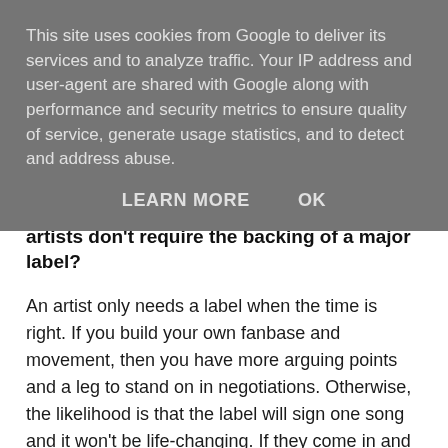This site uses cookies from Google to deliver its services and to analyze traffic. Your IP address and user-agent are shared with Google along with performance and security metrics to ensure quality of service, generate usage statistics, and to detect and address abuse.
LEARN MORE   OK
the streets are the new A&R, and some artists don't require the backing of a major label?
An artist only needs a label when the time is right. If you build your own fanbase and movement, then you have more arguing points and a leg to stand on in negotiations. Otherwise, the likelihood is that the label will sign one song and it won't be life-changing. If they come in and you've done a lot on your own, then you have more value. I was doing shows and things were happening before I got a deal. If the time is right, a label should be adding to what you're already doing, not dictating the direction.
Going back to the States, Tinie Tempah's Written In The